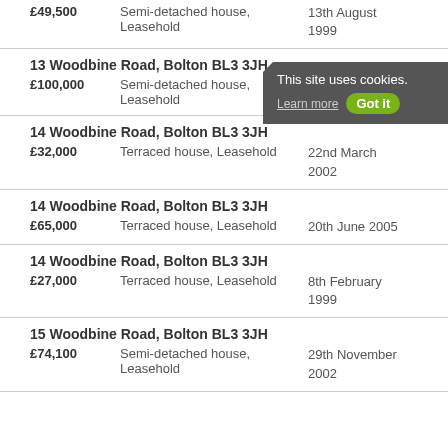£49,500  Semi-detached house, Leasehold  13th August 1999
13 Woodbine Road, Bolton BL3 3JH
£100,000  Semi-detached house, Leasehold  3rd August 2012
14 Woodbine Road, Bolton BL3 3JH
£32,000  Terraced house, Leasehold  22nd March 2002
14 Woodbine Road, Bolton BL3 3JH
£65,000  Terraced house, Leasehold  20th June 2005
14 Woodbine Road, Bolton BL3 3JH
£27,000  Terraced house, Leasehold  8th February 1999
15 Woodbine Road, Bolton BL3 3JH
£74,100  Semi-detached house, Leasehold  29th November 2002